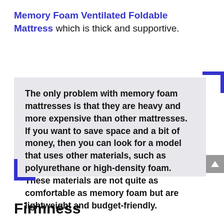Memory Foam Ventilated Foldable Mattress which is thick and supportive.
The only problem with memory foam mattresses is that they are heavy and more expensive than other mattresses. If you want to save space and a bit of money, then you can look for a model that uses other materials, such as polyurethane or high-density foam. These materials are not quite as comfortable as memory foam but are lightweight and budget-friendly.
Firmness